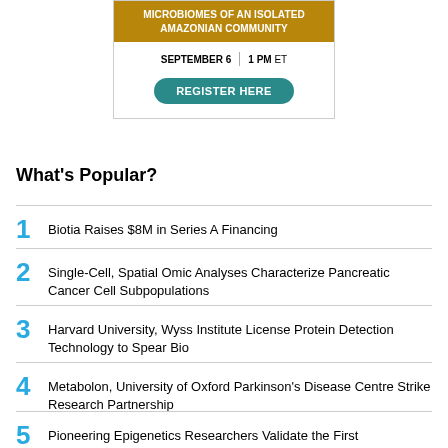[Figure (other): Webinar advertisement banner for microbiomes of an isolated Amazonian community, September 6 at 1 PM ET, with a Register Here button]
What's Popular?
1 Biotia Raises $8M in Series A Financing
2 Single-Cell, Spatial Omic Analyses Characterize Pancreatic Cancer Cell Subpopulations
3 Harvard University, Wyss Institute License Protein Detection Technology to Spear Bio
4 Metabolon, University of Oxford Parkinson's Disease Centre Strike Research Partnership
5 Pioneering Epigenetics Researchers Validate the First